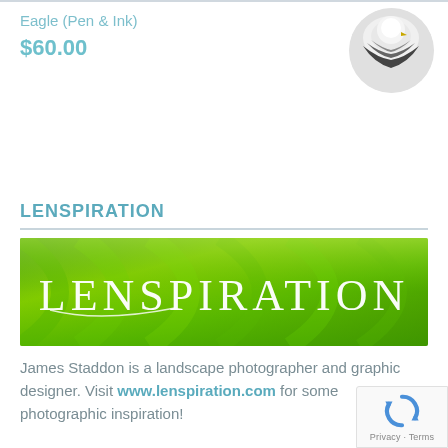Eagle (Pen & Ink)
$60.00
[Figure (photo): Circular thumbnail image of an eagle pen and ink artwork]
LENSPIRATION
[Figure (logo): Lenspiration banner logo with white text on green leaf background]
James Staddon is a landscape photographer and graphic designer. Visit www.lenspiration.com for some photographic inspiration!
[Figure (other): reCAPTCHA badge with Privacy and Terms links]